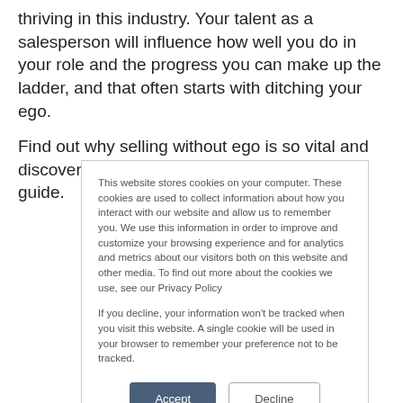thriving in this industry. Your talent as a salesperson will influence how well you do in your role and the progress you can make up the ladder, and that often starts with ditching your ego.
Find out why selling without ego is so vital and discover some super useful selling tips in this guide.
This website stores cookies on your computer. These cookies are used to collect information about how you interact with our website and allow us to remember you. We use this information in order to improve and customize your browsing experience and for analytics and metrics about our visitors both on this website and other media. To find out more about the cookies we use, see our Privacy Policy

If you decline, your information won't be tracked when you visit this website. A single cookie will be used in your browser to remember your preference not to be tracked.